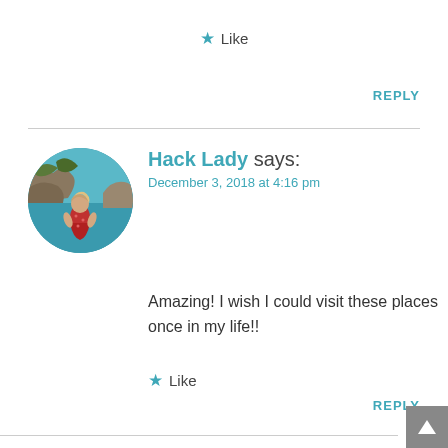★ Like
REPLY
Hack Lady says:
December 3, 2018 at 4:16 pm
[Figure (photo): Circular avatar photo of a person sitting on a rocky cliff overlooking turquoise water]
Amazing! I wish I could visit these places once in my life!!
★ Like
REPLY